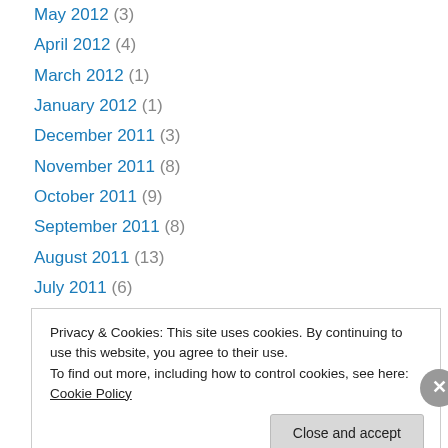May 2012 (3)
April 2012 (4)
March 2012 (1)
January 2012 (1)
December 2011 (3)
November 2011 (8)
October 2011 (9)
September 2011 (8)
August 2011 (13)
July 2011 (6)
June 2011 (11)
May 2011 (8)
April 2011 (14)
Privacy & Cookies: This site uses cookies. By continuing to use this website, you agree to their use.
To find out more, including how to control cookies, see here: Cookie Policy